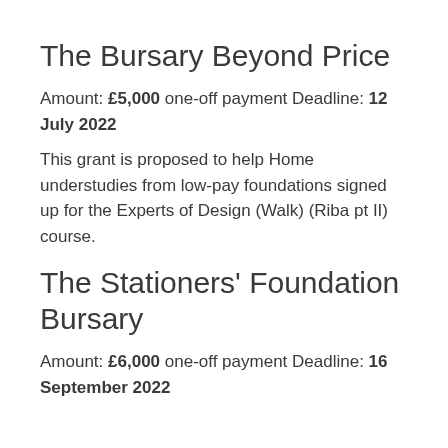The Bursary Beyond Price
Amount: £5,000 one-off payment Deadline: 12 July 2022
This grant is proposed to help Home understudies from low-pay foundations signed up for the Experts of Design (Walk) (Riba pt II) course.
The Stationers' Foundation Bursary
Amount: £6,000 one-off payment Deadline: 16 September 2022